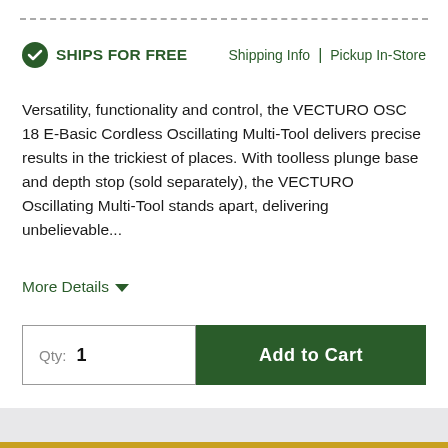SHIPS FOR FREE   Shipping Info  |  Pickup In-Store
Versatility, functionality and control, the VECTURO OSC 18 E-Basic Cordless Oscillating Multi-Tool delivers precise results in the trickiest of places. With toolless plunge base and depth stop (sold separately), the VECTURO Oscillating Multi-Tool stands apart, delivering unbelievable...
More Details ▾
Qty: 1    Add to Cart
+ Add to Wishlist   ➤ Share